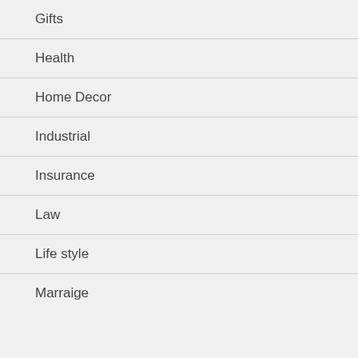Gifts
Health
Home Decor
Industrial
Insurance
Law
Life style
Marraige